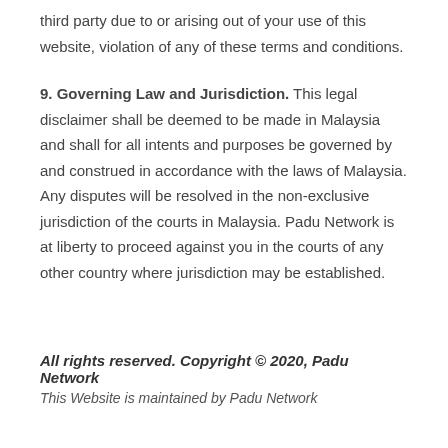third party due to or arising out of your use of this website, violation of any of these terms and conditions.
9. Governing Law and Jurisdiction. This legal disclaimer shall be deemed to be made in Malaysia and shall for all intents and purposes be governed by and construed in accordance with the laws of Malaysia. Any disputes will be resolved in the non-exclusive jurisdiction of the courts in Malaysia. Padu Network is at liberty to proceed against you in the courts of any other country where jurisdiction may be established.
All rights reserved. Copyright © 2020, Padu Network
This Website is maintained by Padu Network